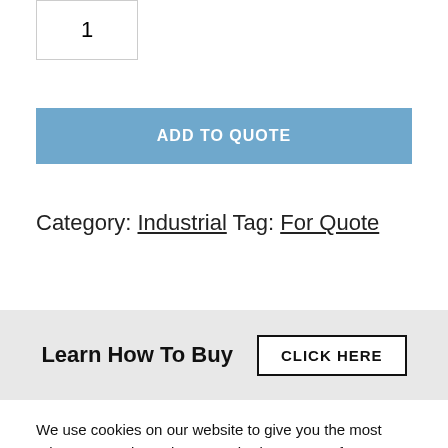1
ADD TO QUOTE
Category: Industrial Tag: For Quote
Learn How To Buy   CLICK HERE
We use cookies on our website to give you the most relevant experience by remembering your preferences and repeat visits. By clicking "Accept All", you consent to the use of ALL the cookies. However, you may visit "Cookie Settings" to provide a controlled consent.
Cookie Settings   Accept All   Reject All